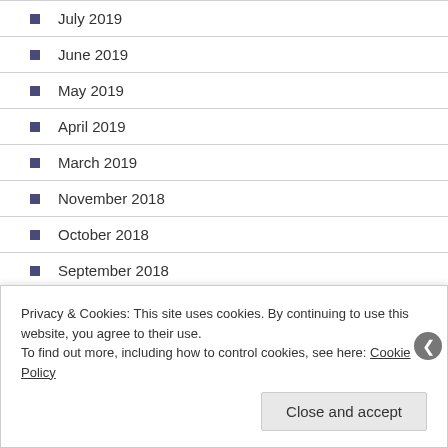July 2019
June 2019
May 2019
April 2019
March 2019
November 2018
October 2018
September 2018
August 2018
July 2018
Privacy & Cookies: This site uses cookies. By continuing to use this website, you agree to their use.
To find out more, including how to control cookies, see here: Cookie Policy
Close and accept